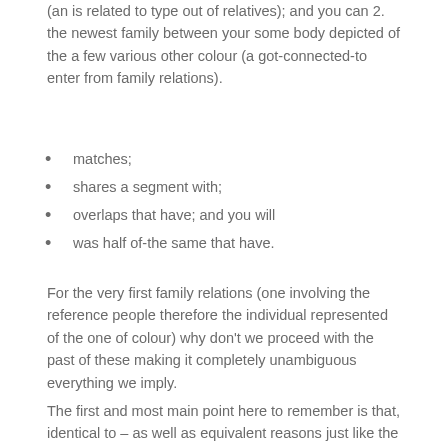(an is related to type out of relatives); and you can 2. the newest family between your some body depicted of the a few various other colour (a got-connected-to enter from family relations).
matches;
shares a segment with;
overlaps that have; and you will
was half of-the same that have.
For the very first family relations (one involving the reference people therefore the individual represented of the one of colour) why don't we proceed with the past of these making it completely unambiguous everything we imply.
The first and most main point here to remember is that, identical to – as well as equivalent reasons just like the – resembles, is half-similar that have isn't a